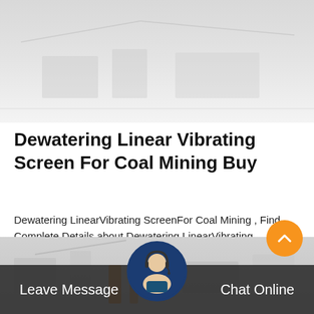[Figure (photo): Top banner photo showing industrial/mining equipment in a factory setting, faded/washed out appearance]
Dewatering Linear Vibrating Screen For Coal Mining Buy
Dewatering LinearVibrating ScreenFor Coal Mining , Find Complete Details about Dewatering LinearVibrating ScreenFor Coal Mining,DewateringScreenMining,DewateringVibrating Screen,DewateringScreenfromVibrating ScreenSupplier or…
[Figure (illustration): Orange 'Get Price' button]
[Figure (photo): Bottom banner photo showing industrial/mining facility, faded]
Leave Message   Chat Online